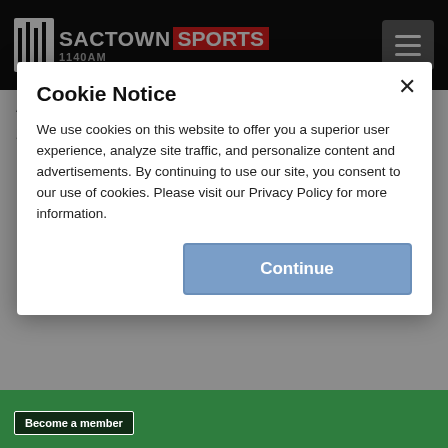SACTOWN SPORTS 1140AM
Amiliano Fragoso
3 Things To Look Out For At Raiders Training Camp: Offense Edition
Cookie Notice
We use cookies on this website to offer you a superior user experience, analyze site traffic, and personalize content and advertisements. By continuing to use our site, you consent to our use of cookies. Please visit our Privacy Policy for more information.
Continue